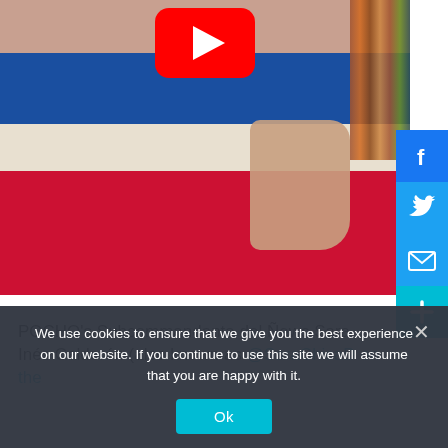[Figure (screenshot): YouTube video thumbnail showing a woman in a blue, white, and red striped sleeveless top holding a green item, with bookshelves in the background and a YouTube play button overlay. Social share buttons (Facebook, Twitter, Email, Plus) on the right side.]
POCHO's Subcommandanta del Ñews Sara Inés Calderón (also known as @SaraChicaD on the
We use cookies to ensure that we give you the best experience on our website. If you continue to use this site we will assume that you are happy with it.